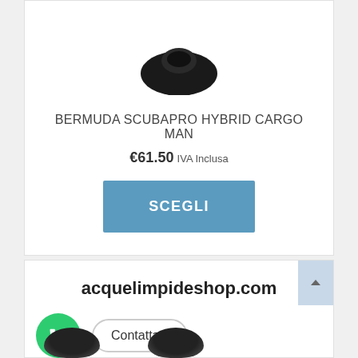[Figure (photo): Product image of Bermuda Scubapro Hybrid Cargo Man, dark colored shorts/garment shown from top]
BERMUDA SCUBAPRO HYBRID CARGO MAN
€61.50 IVA Inclusa
SCEGLI
acquelimpideshop.com
Contattaci
[Figure (photo): Two small product thumbnail images at the bottom of the page]